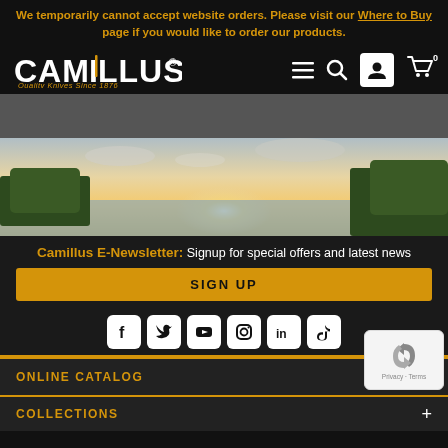We temporarily cannot accept website orders. Please visit our Where to Buy page if you would like to order our products.
[Figure (logo): Camillus logo with text 'Quality Knives Since 1876']
[Figure (photo): Scenic landscape photo with lake, trees, and sunset sky]
Camillus E-Newsletter: Signup for special offers and latest news
SIGN UP
[Figure (infographic): Social media icons: Facebook, Twitter, YouTube, Instagram, LinkedIn, TikTok]
ONLINE CATALOG
COLLECTIONS